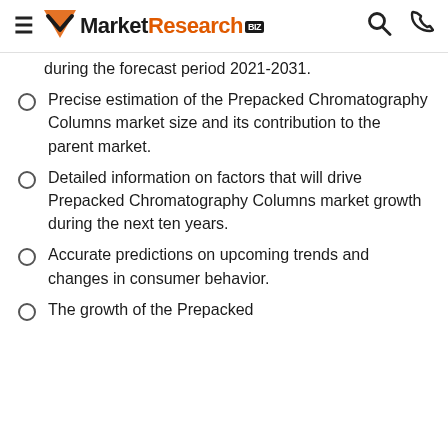MarketResearch.biz
during the forecast period 2021-2031.
Precise estimation of the Prepacked Chromatography Columns market size and its contribution to the parent market.
Detailed information on factors that will drive Prepacked Chromatography Columns market growth during the next ten years.
Accurate predictions on upcoming trends and changes in consumer behavior.
The growth of the Prepacked